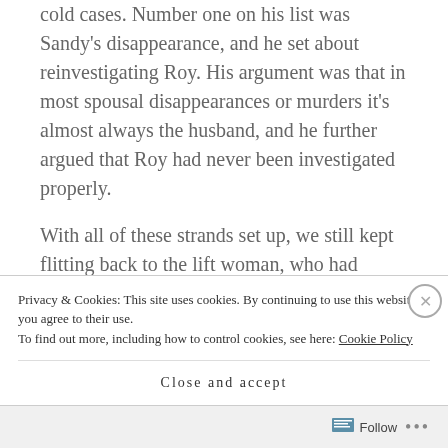cold cases. Number one on his list was Sandy's disappearance, and he set about reinvestigating Roy. His argument was that in most spousal disappearances or murders it's almost always the husband, and he further argued that Roy had never been investigated properly.
With all of these strands set up, we still kept flitting back to the lift woman, who had escaped her claustrophobic confinement but was soon taken hostage by a softly-spoken, smooth-looking thug
Privacy & Cookies: This site uses cookies. By continuing to use this website, you agree to their use.
To find out more, including how to control cookies, see here: Cookie Policy
Close and accept
Follow